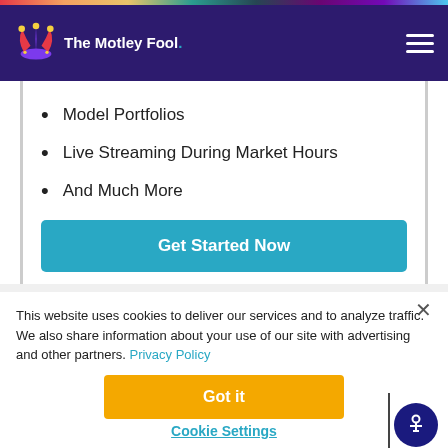The Motley Fool
Model Portfolios
Live Streaming During Market Hours
And Much More
Get Started Now
This website uses cookies to deliver our services and to analyze traffic. We also share information about your use of our site with advertising and other partners. Privacy Policy
Got it
Cookie Settings